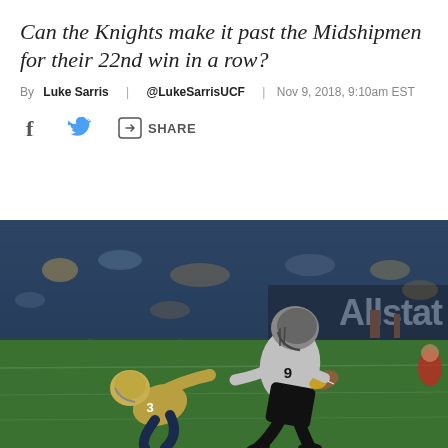Can the Knights make it past the Midshipmen for their 22nd win in a row?
By Luke Sarris | @LukeSarrisUCF | Nov 9, 2018, 9:10am EST
SHARE
[Figure (photo): A UCF Knights football player (#9) in black and white uniform runs with the ball past a Navy Midshipmen defender (#3) in gold uniform during a game at a stadium with an Allstate advertising board visible in the background.]